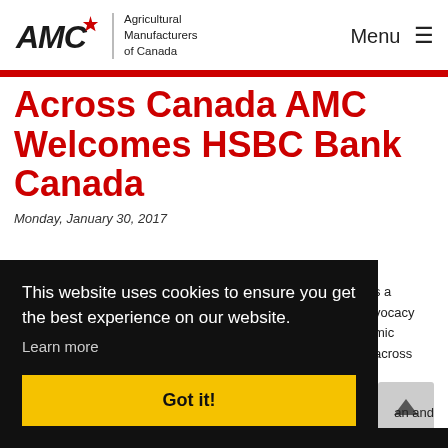AMC Agricultural Manufacturers of Canada | Menu
Across Canada AMC Welcomes HSBC Bank Canada
Monday, January 30, 2017
This website uses cookies to ensure you get the best experience on our website. Learn more Got it!
s a vocacy mic across e an and